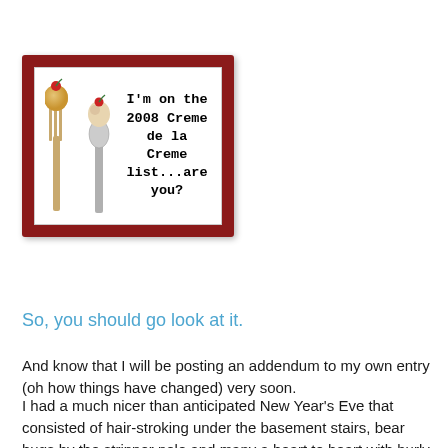[Figure (illustration): A promotional badge with a dark red border, showing two ice cream sundaes on a fork and spoon, with text reading: I'm on the 2008 Creme de la Creme list...are you?]
So, you should go look at it.
And know that I will be posting an addendum to my own entry (oh how things have changed) very soon.
I had a much nicer than anticipated New Year's Eve that consisted of hair-stroking under the basement stairs, bear hugs by the stripper pole and many a heart to heart with burly men and buxom women. Maybe I'll even tell you about that. Short version: I love my brother, his girlfriend, and their friends and was absolutely shocked (although I shouldn't